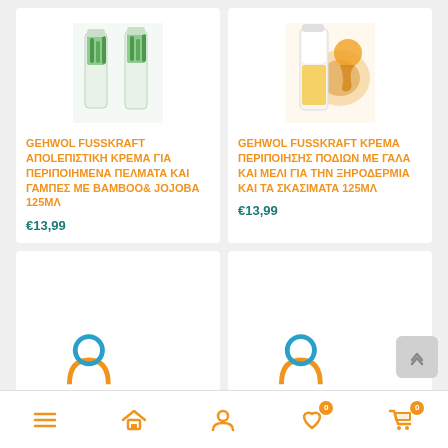[Figure (photo): Bamboo product tubes - GEHWOL FUSSKRAFT exfoliating cream with bamboo and jojoba]
GEHWOL FUSSKRAFT ΑΠΟLΕΠΙΣΤΙΚΗ ΚΡΕΜΑ ΓΙΑ ΠΕΡΙΠΟΙΗΜΕΝΑ ΠΕΛΜΑΤΑ ΚΑΙ ΓΑΜΠΕΣ ΜΕ BAMBOO& JOJOBA 125ΜΛ
€13,99
[Figure (photo): Golden honey cream tube - GEHWOL FUSSKRAFT foot care cream with milk and honey]
GEHWOL FUSSKRAFT ΚΡΕΜΑ ΠΕΡΙΠΟΙΗΣΗΣ ΠΟΔΙΩΝ ΜΕ ΓΑΛΑ ΚΑΙ ΜΕΛΙ ΓΙΑ ΤΗΝ ΞΗΡΟΔΕΡΜΙΑ ΚΑΙ ΤΑ ΣΚΑΣΙΜΑΤΑ 125ΜΛ
€13,99
[Figure (other): Bottom product card - partially visible product with icon]
[Figure (other): Bottom product card - partially visible product with icon]
Navigation bar with menu, home, profile, wishlist (0), cart (0)